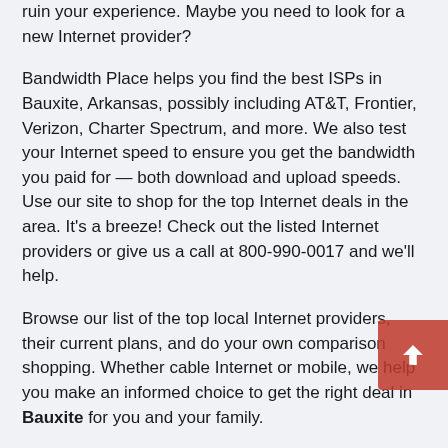ruin your experience. Maybe you need to look for a new Internet provider?
Bandwidth Place helps you find the best ISPs in Bauxite, Arkansas, possibly including AT&T, Frontier, Verizon, Charter Spectrum, and more. We also test your Internet speed to ensure you get the bandwidth you paid for — both download and upload speeds. Use our site to shop for the top Internet deals in the area. It's a breeze! Check out the listed Internet providers or give us a call at 800-990-0017 and we'll help.
Browse our list of the top local Internet providers, their current plans, and do your own comparison shopping. Whether cable Internet or mobile, we help you make an informed choice to get the right deal in Bauxite for you and your family.
If you are moving, enter your ZIP code in the search box to